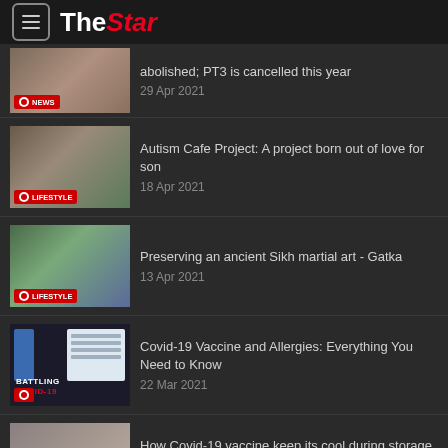The Star
abolished; PT3 is cancelled this year
29 Apr 2021
Autism Cafe Project: A project born out of love for son
18 Apr 2021
Preserving an ancient Sikh martial art - Gatka
13 Apr 2021
Covid-19 Vaccine and Allergies: Everything You Need to Know
22 Mar 2021
How Covid-19 vaccine keep its cool during storage and transportation
20 Mar 2021